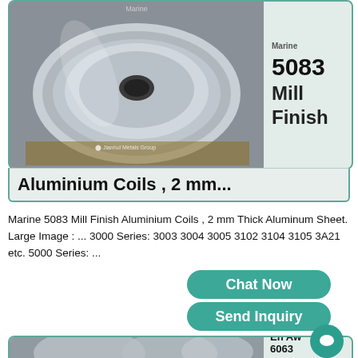[Figure (photo): Large roll of aluminium coil, shiny metallic surface, Jianhui Metals Group watermark. Side panel shows text: 5083 Mill Finish]
Aluminium Coils , 2 mm...
Marine 5083 Mill Finish Aluminium Coils , 2 mm Thick Aluminum Sheet. Large Image : ... 3000 Series: 3003 3004 3005 3102 3104 3105 3A21 etc. 5000 Series: ...
Chat Now
Send Inquiry
[Figure (photo): Multiple aluminium coil rolls stacked in a warehouse. Side panel shows text: En Aw 6063 En Aw]